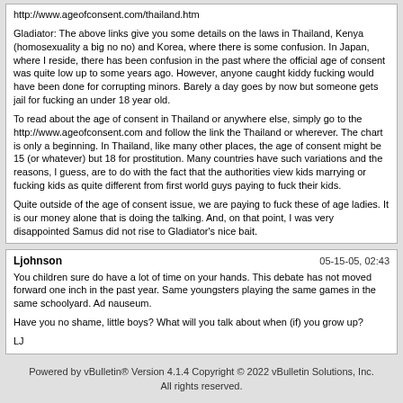http://www.ageofconsent.com/thailand.htm

Gladiator: The above links give you some details on the laws in Thailand, Kenya (homosexuality a big no no) and Korea, where there is some confusion. In Japan, where I reside, there has been confusion in the past where the official age of consent was quite low up to some years ago. However, anyone caught kiddy fucking would have been done for corrupting minors. Barely a day goes by now but someone gets jail for fucking an under 18 year old.

To read about the age of consent in Thailand or anywhere else, simply go to the http://www.ageofconsent.com and follow the link the Thailand or wherever. The chart is only a beginning. In Thailand, like many other places, the age of consent might be 15 (or whatever) but 18 for prostitution. Many countries have such variations and the reasons, I guess, are to do with the fact that the authorities view kids marrying or fucking kids as quite different from first world guys paying to fuck their kids.

Quite outside of the age of consent issue, we are paying to fuck these of age ladies. It is our money alone that is doing the talking. And, on that point, I was very disappointed Samus did not rise to Gladiator's nice bait.
Ljohnson
05-15-05, 02:43
You children sure do have a lot of time on your hands. This debate has not moved forward one inch in the past year. Same youngsters playing the same games in the same schoolyard. Ad nauseum.

Have you no shame, little boys? What will you talk about when (if) you grow up?

LJ
Powered by vBulletin® Version 4.1.4 Copyright © 2022 vBulletin Solutions, Inc. All rights reserved.